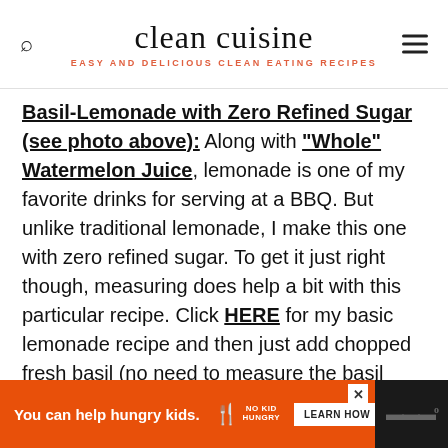clean cuisine — EASY AND DELICIOUS CLEAN EATING RECIPES
Basil-Lemonade with Zero Refined Sugar (see photo above): Along with "Whole" Watermelon Juice, lemonade is one of my favorite drinks for serving at a BBQ. But unlike traditional lemonade, I make this one with zero refined sugar. To get it just right though, measuring does help a bit with this particular recipe. Click HERE for my basic lemonade recipe and then just add chopped fresh basil (no need to measure the basil though!)
You can help hungry kids. NO KID HUNGRY LEARN HOW